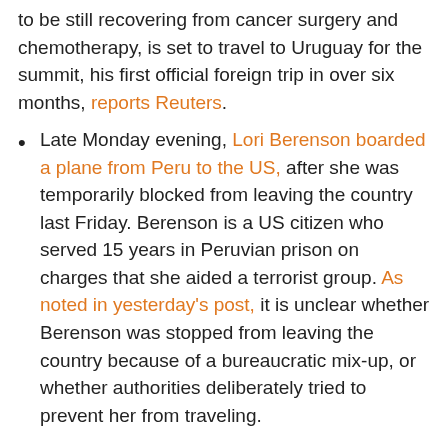to be still recovering from cancer surgery and chemotherapy, is set to travel to Uruguay for the summit, his first official foreign trip in over six months, reports Reuters.
Late Monday evening, Lori Berenson boarded a plane from Peru to the US, after she was temporarily blocked from leaving the country last Friday. Berenson is a US citizen who served 15 years in Peruvian prison on charges that she aided a terrorist group. As noted in yesterday's post, it is unclear whether Berenson was stopped from leaving the country because of a bureaucratic mix-up, or whether authorities deliberately tried to prevent her from traveling.
Reuters reports on further reform to Cuba's agricultural policy, which allows farmers to lease out even larger parcels of land. This follows a series of economic reforms passed in recent months, including a new property law which allows citizens to buy and sell houses at their